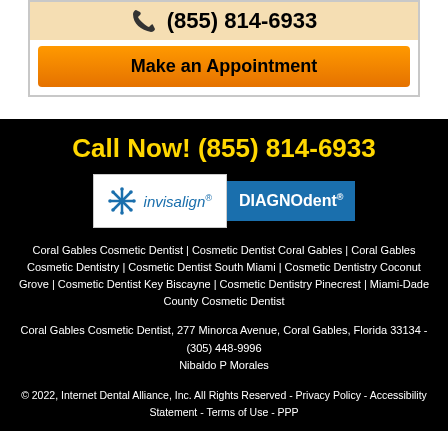(855) 814-6933
Make an Appointment
Call Now! (855) 814-6933
[Figure (logo): Invisalign logo with snowflake icon and blue italic text]
[Figure (logo): DIAGNOdent logo with white text on blue background]
Coral Gables Cosmetic Dentist | Cosmetic Dentist Coral Gables | Coral Gables Cosmetic Dentistry | Cosmetic Dentist South Miami | Cosmetic Dentistry Coconut Grove | Cosmetic Dentist Key Biscayne | Cosmetic Dentistry Pinecrest | Miami-Dade County Cosmetic Dentist
Coral Gables Cosmetic Dentist, 277 Minorca Avenue, Coral Gables, Florida 33134 - (305) 448-9996
Nibaldo P Morales
© 2022, Internet Dental Alliance, Inc. All Rights Reserved - Privacy Policy - Accessibility Statement - Terms of Use - PPP